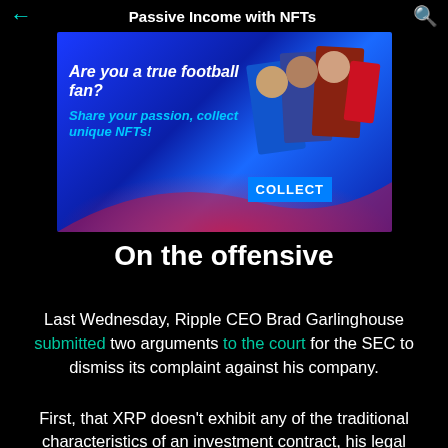Passive Income with NFTs
[Figure (illustration): Advertisement banner for NFT football collectibles. Blue gradient background with text 'Are you a true football fan? Share your passion, collect unique NFTs!' and images of football players on the right side with a 'COLLECT' button.]
On the offensive
Last Wednesday, Ripple CEO Brad Garlinghouse submitted two arguments to the court for the SEC to dismiss its complaint against his company.
First, that XRP doesn't exhibit any of the traditional characteristics of an investment contract, his legal counsel claimed. And second